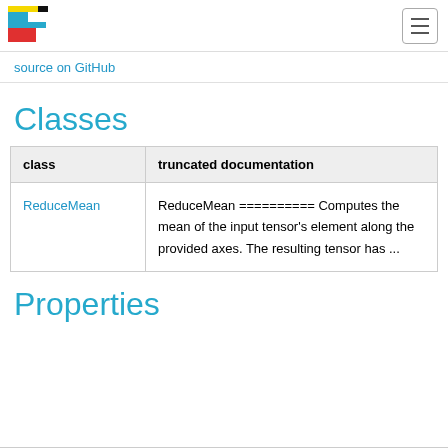source on GitHub
Classes
| class | truncated documentation |
| --- | --- |
| ReduceMean | ReduceMean ========== Computes the mean of the input tensor's element along the provided axes. The resulting tensor has ... |
Properties